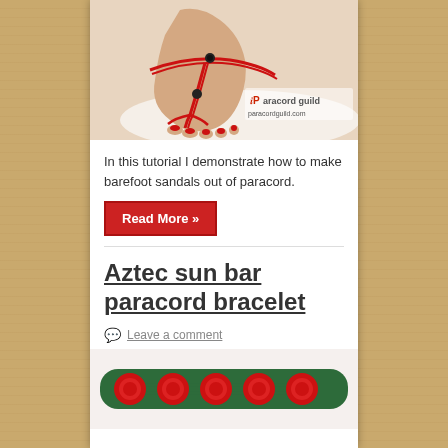[Figure (photo): Photo of a foot wearing a red paracord barefoot sandal with black beads, showing ankle and toes, with 'Paracord guild' watermark and paracordguild.com text]
In this tutorial I demonstrate how to make barefoot sandals out of paracord.
Read More »
Aztec sun bar paracord bracelet
Leave a comment
[Figure (photo): Close-up photo of an Aztec sun bar paracord bracelet with red and green colors]